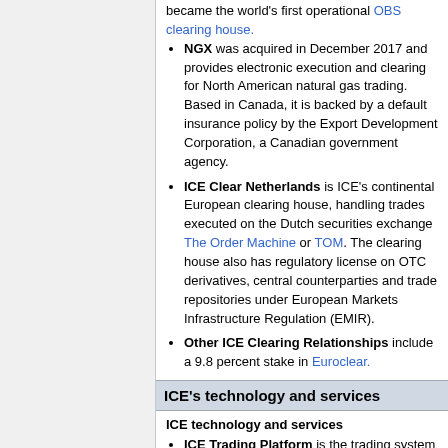NGX was acquired in December 2017 and provides electronic execution and clearing for North American natural gas trading. Based in Canada, it is backed by a default insurance policy by the Export Development Corporation, a Canadian government agency.
ICE Clear Netherlands is ICE's continental European clearing house, handling trades executed on the Dutch securities exchange The Order Machine or TOM. The clearing house also has regulatory license on OTC derivatives, central counterparties and trade repositories under European Markets Infrastructure Regulation (EMIR).
Other ICE Clearing Relationships include a 9.8 percent stake in Euroclear.
ICE's technology and services
ICE technology and services
ICE Trading Platform is the trading system for ICE futures markets and can be accessed via a direct connection, the web or mobile aps or an independent software vendor. The platform offers sub 1-millisecond round-trip transaction times on ICE futures markets and supports